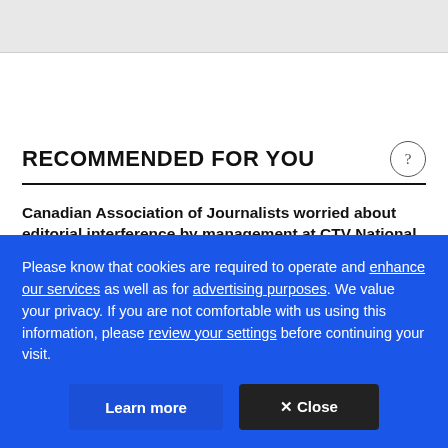RECOMMENDED FOR YOU
Canadian Association of Journalists worried about editorial interference by management at CTV National
Please know that cookies are required to operate and enhance our services as well as for advertising purposes. We value your privacy. If you are not comfortable with us using this information, please review your settings before continuing your visit.